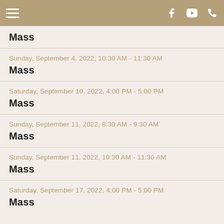Navigation header with hamburger menu, Facebook, YouTube, and phone icons
Mass — (date partially cut off, top of page)
Sunday, September 4, 2022, 10:30 AM - 11:30 AM
Mass
Saturday, September 10, 2022, 4:00 PM - 5:00 PM
Mass
Sunday, September 11, 2022, 8:30 AM - 9:30 AM
Mass
Sunday, September 11, 2022, 10:30 AM - 11:30 AM
Mass
Saturday, September 17, 2022, 4:00 PM - 5:00 PM
Mass